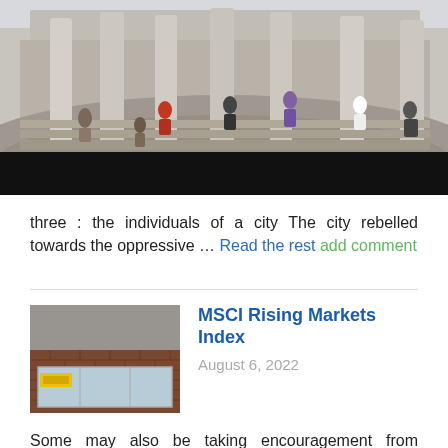[Figure (photo): Wide-angle fisheye photo of a classical building with large stone columns and steps, people sitting on the steps, followed by a black bar/video player bar below.]
three : the individuals of a city The city rebelled towards the oppressive … Read the rest add comment
MSCI Rising Markets Index
August 6, 2022
[Figure (photo): Thumbnail photo of a storefront with brick exterior, glass windows, and a yellow sign.]
Some may also be taking encouragement from information concerning the development of treatments or a vaccine, even if experts warn in regards to the time it would take to construct